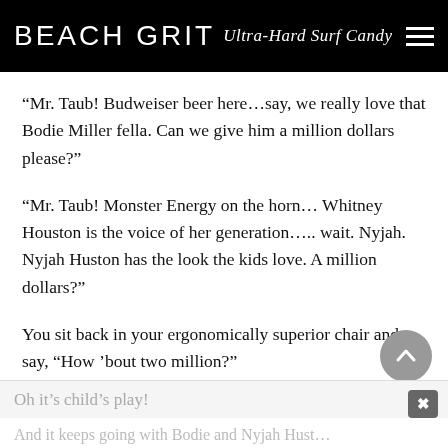BEACH GRIT Ultra-Hard Surf Candy
“Mr. Taub! Budweiser beer here…say, we really love that Bodie Miller fella. Can we give him a million dollars please?”
“Mr. Taub! Monster Energy on the horn… Whitney Houston is the voice of her generation….. wait. Nyjah. Nyjah Huston has the look the kids love. A million dollars?”
You sit back in your ergonomically superior chair and say, “How ’bout two million?”
Oh it’s child’s play!
And it keeps going with Bodie and Nyjah Hust…